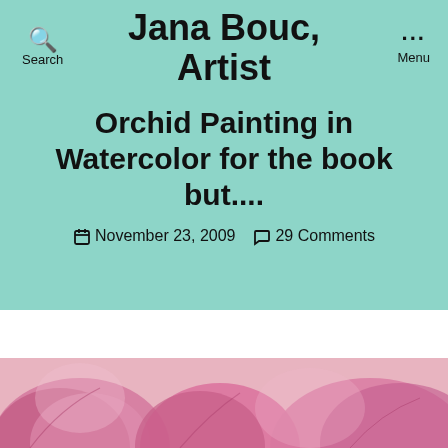Jana Bouc, Artist
Search
Menu
Orchid Painting in Watercolor for the book but....
November 23, 2009  29 Comments
[Figure (photo): Close-up watercolor painting of pink orchid petals, soft and textured, cropped at the bottom of the page]